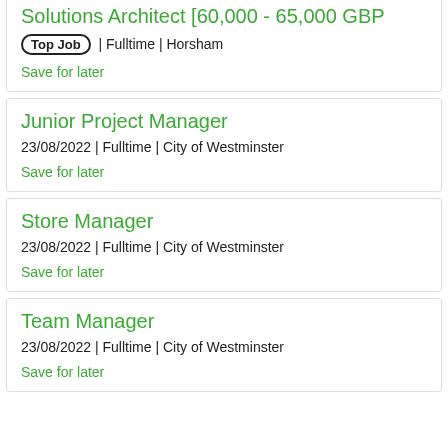Solutions Architect [60,000 - 65,000 GBP
Top Job | Fulltime | Horsham
Save for later
Junior Project Manager
23/08/2022 | Fulltime | City of Westminster
Save for later
Store Manager
23/08/2022 | Fulltime | City of Westminster
Save for later
Team Manager
23/08/2022 | Fulltime | City of Westminster
Save for later